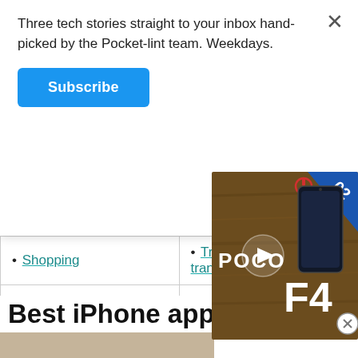Three tech stories straight to your inbox hand-picked by the Pocket-lint team. Weekdays.
Subscribe
| • Shopping | • Travel and transportation |
| • Smart Home | • Weather |
Best iPhone app
[Figure (screenshot): Screenshot of a room interior app showing furniture placement with AR overlay text 'Alright let's add some furniture and get started']
[Figure (screenshot): Video popup overlay showing POCO F4 smartphone advertisement with play button, blue corner badge '02', and power icon]